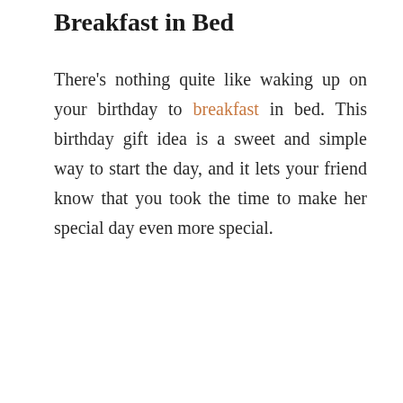Breakfast in Bed
There's nothing quite like waking up on your birthday to breakfast in bed. This birthday gift idea is a sweet and simple way to start the day, and it lets your friend know that you took the time to make her special day even more special.